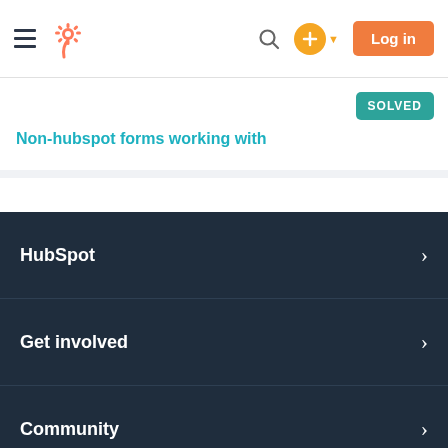HubSpot Community — Navigation bar with hamburger menu, HubSpot logo, search icon, add button, and Log in button
Non-hubspot forms working with
SOLVED
HubSpot
Get involved
Community
Privacy Policy
Community Terms of Use